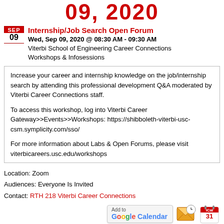09, 2020
Internship/Job Search Open Forum
Wed, Sep 09, 2020 @ 08:30 AM - 09:30 AM
Viterbi School of Engineering Career Connections
Workshops & Infosessions
Increase your career and internship knowledge on the job/internship search by attending this professional development Q&A moderated by Viterbi Career Connections staff.

To access this workshop, log into Viterbi Career Gateway>>Events>>Workshops: https://shibboleth-viterbi-usc-csm.symplicity.com/sso/

For more information about Labs & Open Forums, please visit viterbicareers.usc.edu/workshops
Location: Zoom
Audiences: Everyone Is Invited
Contact: RTH 218 Viterbi Career Connections
[Figure (other): Add to Google Calendar button, envelope icon, and iCal icon]